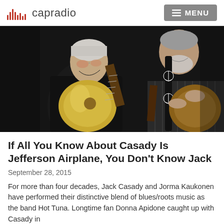capradio  MENU
[Figure (photo): Two musicians smiling and playing guitars against a dark background. The left musician plays a gold archtop guitar wearing a black shirt; the right musician plays an electric guitar with a peace-sign guitar strap wearing a striped jacket.]
If All You Know About Casady Is Jefferson Airplane, You Don't Know Jack
September 28, 2015
For more than four decades, Jack Casady and Jorma Kaukonen have performed their distinctive blend of blues/roots music as the band Hot Tuna. Longtime fan Donna Apidone caught up with Casady in